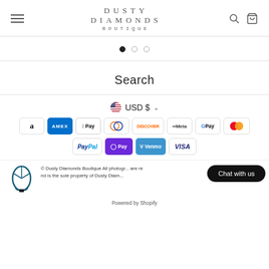DUSTY DIAMONDS BOUTIQUE
[Figure (screenshot): Pagination dots: one filled black, two outline]
Search
USD $ ▾
[Figure (infographic): Payment method icons: Amazon, Amex, Apple Pay, Diners, Discover, Meta, Google Pay, Mastercard, PayPal, OPay, Venmo, Visa]
Dusty Diamonds Boutique All photography is re and is the sole property of Dusty Diamonds. Powered by Shopify